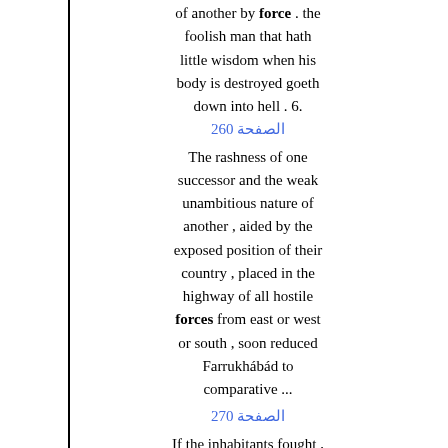of another by force . the foolish man that hath little wisdom when his body is destroyed goeth down into hell . 6.
الصفحة 260
The rashness of one successor and the weak unambitious nature of another , aided by the exposed position of their country , placed in the highway of all hostile forces from east or west or south , soon reduced Farrukhábád to comparative ...
الصفحة 270
If the inhabitants fought , force was met by force ; if they asked for terms , a settlement was made . On Rashid Khan and the Khánzádahs . Note A.